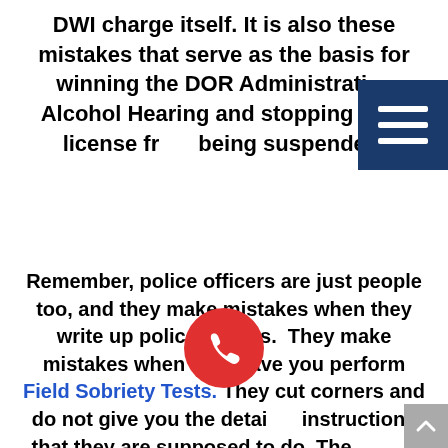DWI charge itself. It is also these mistakes that serve as the basis for winning the DOR Administrative Alcohol Hearing and stopping your license from being suspended.
Remember, police officers are just people too, and they make mistakes when they write up police reports. They make mistakes when they have you perform Field Sobriety Tests. They cut corners and do not give you the detailed instructions that they are supposed to do. They don't observe you for the proper time period before you take a breath test. My